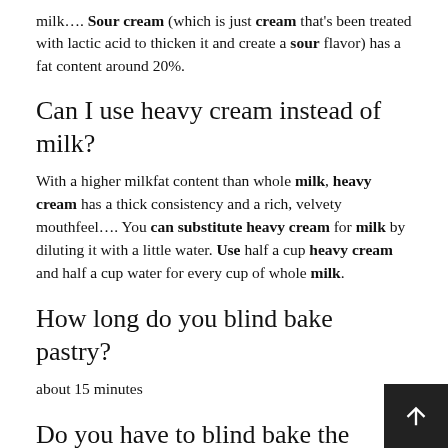milk…. Sour cream (which is just cream that's been treated with lactic acid to thicken it and create a sour flavor) has a fat content around 20%.
Can I use heavy cream instead of milk?
With a higher milkfat content than whole milk, heavy cream has a thick consistency and a rich, velvety mouthfeel…. You can substitute heavy cream for milk by diluting it with a little water. Use half a cup heavy cream and half a cup water for every cup of whole milk.
How long do you blind bake pastry?
about 15 minutes
Do you have to blind bake the bottom of a pie?